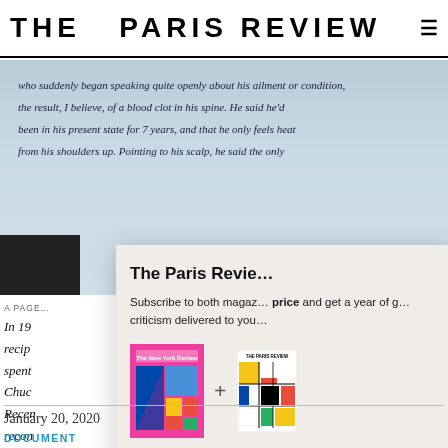THE PARIS REVIEW
[Figure (photo): Handwritten notebook page with cursive text about a person speaking openly about his ailment, a blood clot in his spine, been in his present state for 7 years, only feels heat from his shoulders up, pointing to his scalp]
A PAGE…
In 19… recip… spent… Chuc… Recer… recon…
[Figure (infographic): Subscription modal overlay: The Paris Review — Subscribe to both magazines at a special price and get a year of great criticism delivered to you. Shows New Yorker magazine cover + Paris Review magazine cover with a plus sign between them. Subscribe Now button in blue.]
January 20, 2020
DOCUMENT